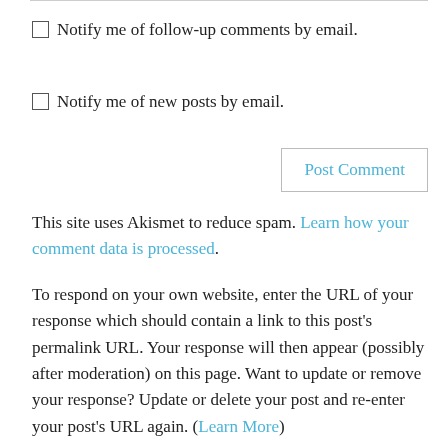☐ Notify me of follow-up comments by email.
☐ Notify me of new posts by email.
Post Comment
This site uses Akismet to reduce spam. Learn how your comment data is processed.
To respond on your own website, enter the URL of your response which should contain a link to this post's permalink URL. Your response will then appear (possibly after moderation) on this page. Want to update or remove your response? Update or delete your post and re-enter your post's URL again. (Learn More)